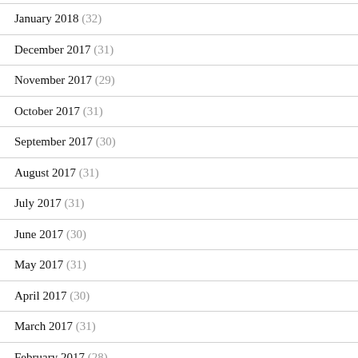January 2018 (32)
December 2017 (31)
November 2017 (29)
October 2017 (31)
September 2017 (30)
August 2017 (31)
July 2017 (31)
June 2017 (30)
May 2017 (31)
April 2017 (30)
March 2017 (31)
February 2017 (28)
January 2017 (32)
December 2016 (33)